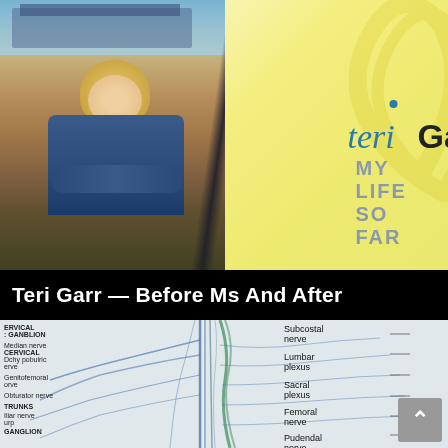[Figure (photo): Book cover or promotional image for Teri Garr 'My Life So Far'. Left half shows a woman (Teri Garr) with blonde hair, denim jacket and yellow top, arms crossed, standing on a beach with a pier in the background. Right half has a yellow background with the name 'teriGarr' in stylized italic/bold text and 'MY LIFE SO FAR' in gray block letters, with decorative swirl patterns.]
Teri Garr — Before Ms And After
[Figure (illustration): Medical anatomical diagram of the human nervous system showing the lower spine and leg nerves. Labels visible include: CERVICAL GANGLION, Median nerve, CERVICAL, Genitofemoral nerve, Obturator nerve, TRUNKS, Iliar nerve, GANGLION on the left side; and Subcostal nerve, Lumbar plexus, Sacral plexus, Femoral nerve, Pudendal nerve, Sciatic nerve on the right side. The diagram uses blue and green lines to show nerve pathways.]